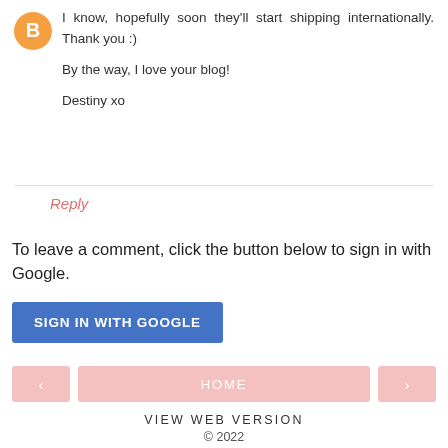I know, hopefully soon they'll start shipping internationally. Thank you :)

By the way, I love your blog!

Destiny xo
Reply
To leave a comment, click the button below to sign in with Google.
SIGN IN WITH GOOGLE
HOME
VIEW WEB VERSION
© 2022